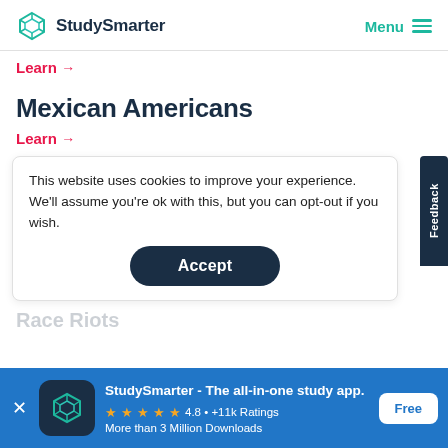StudySmarter   Menu
Learn →
Mexican Americans
Learn →
This website uses cookies to improve your experience. We'll assume you're ok with this, but you can opt-out if you wish.
Accept
Race Riots
StudySmarter - The all-in-one study app. ★★★★★ 4.8 • +11k Ratings More than 3 Million Downloads   Free